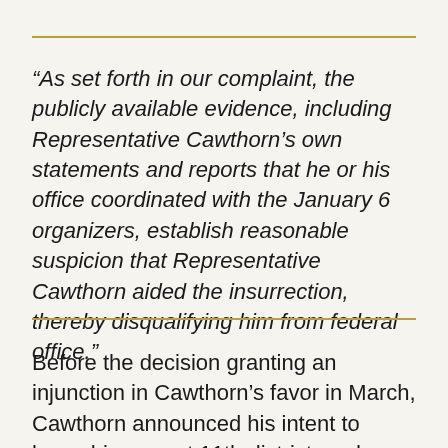“As set forth in our complaint, the publicly available evidence, including Representative Cawthorn’s own statements and reports that he or his office coordinated with the January 6 organizers, establish reasonable suspicion that Representative Cawthorn aided the insurrection, thereby disqualifying him from federal office.”
Before the decision granting an injunction in Cawthorn’s favor in March, Cawthorn announced his intent to leave his current 11th district, and run in the newly drawn 13th. This